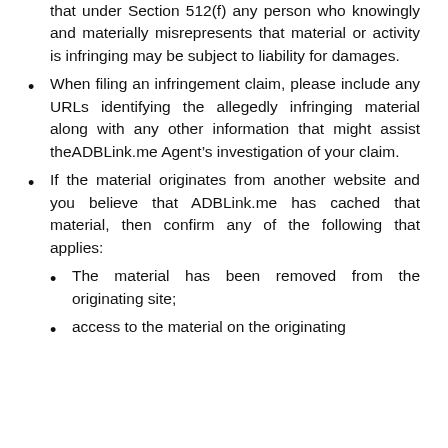that under Section 512(f) any person who knowingly and materially misrepresents that material or activity is infringing may be subject to liability for damages.
When filing an infringement claim, please include any URLs identifying the allegedly infringing material along with any other information that might assist theADBLink.me Agent’s investigation of your claim.
If the material originates from another website and you believe that ADBLink.me has cached that material, then confirm any of the following that applies:
The material has been removed from the originating site;
access to the material on the originating